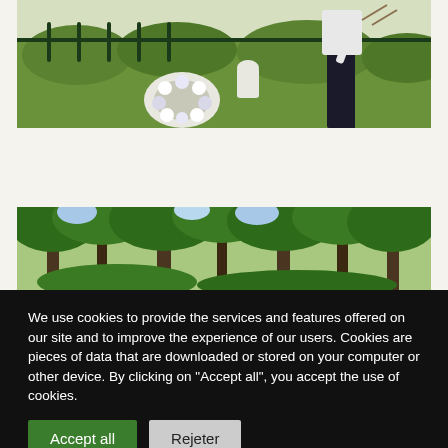[Figure (photo): A person in a white shirt and black pants holding items, standing near a flower wreath at a cemetery with green foliage and iron fence in background]
[Figure (photo): A wooded cemetery or park scene with tall trees and lush green foliage]
We use cookies to provide the services and features offered on our site and to improve the experience of our users. Cookies are pieces of data that are downloaded or stored on your computer or other device. By clicking on "Accept all", you accept the use of cookies.